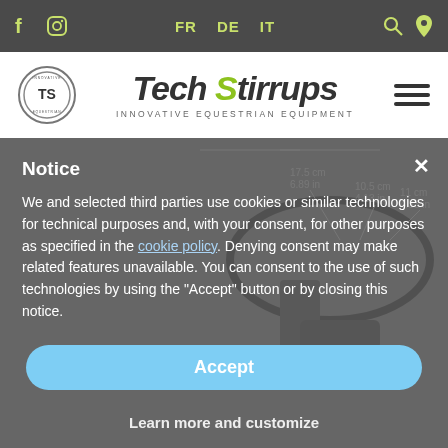f  [instagram]  FR  DE  IT  [search]  [location]
[Figure (logo): Tech Stirrups logo with circular TS badge and tagline INNOVATIVE EQUESTRIAN EQUIPMENT]
[Figure (photo): Tech Stirrups product photo showing stirrups with dimension annotations: 17.5 cm / 6.89 in, 10.5 cm / 4.13 in, 11 cm / 4.33 in]
Notice
We and selected third parties use cookies or similar technologies for technical purposes and, with your consent, for other purposes as specified in the cookie policy. Denying consent may make related features unavailable. You can consent to the use of such technologies by using the "Accept" button or by closing this notice.
Accept
Learn more and customize